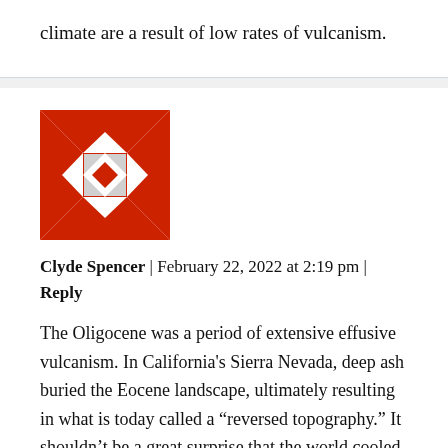climate are a result of low rates of vulcanism.
[Figure (logo): Red geometric logo with cross/star pattern made of triangles and squares]
Clyde Spencer | February 22, 2022 at 2:19 pm | Reply
The Oligocene was a period of extensive effusive vulcanism. In California's Sierra Nevada, deep ash buried the Eocene landscape, ultimately resulting in what is today called a "reversed topography." It shouldn't be a great surprise that the world cooled with widespread, long...